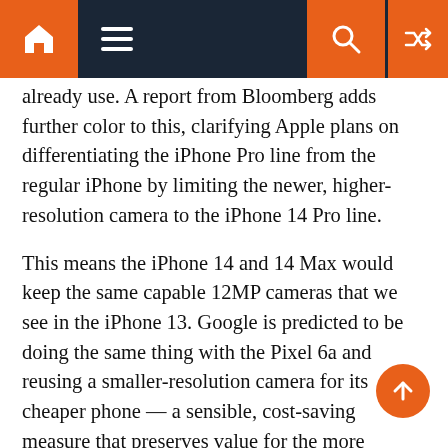Navigation bar with home, menu, search, and shuffle icons
already use. A report from Bloomberg adds further color to this, clarifying Apple plans on differentiating the iPhone Pro line from the regular iPhone by limiting the newer, higher-resolution camera to the iPhone 14 Pro line.
This means the iPhone 14 and 14 Max would keep the same capable 12MP cameras that we see in the iPhone 13. Google is predicted to be doing the same thing with the Pixel 6a and reusing a smaller-resolution camera for its cheaper phone — a sensible, cost-saving measure that preserves value for the more expensive models, especially when one considers the bifurcation going on in the chipset arena as well. The 12MP cameras will be good enough for most users, and those who want the best camera possible would be buying the Pro models anyway.